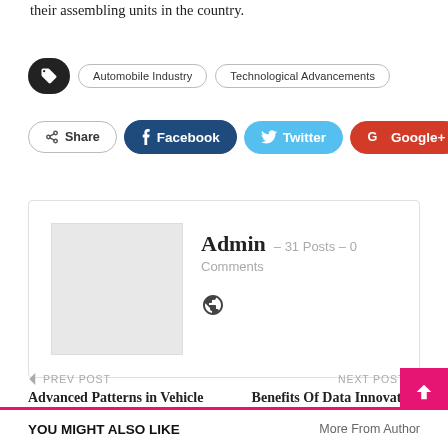their assembling units in the country.
Tags: Automobile Industry, Technological Advancements
Share | Facebook | Twitter | Google+ | +
Admin – 31 Posts – 0 Comments
PREV POST
Advanced Patterns in Vehicle Innovation
NEXT POST
Benefits Of Data Innovation In Business
YOU MIGHT ALSO LIKE    More From Author